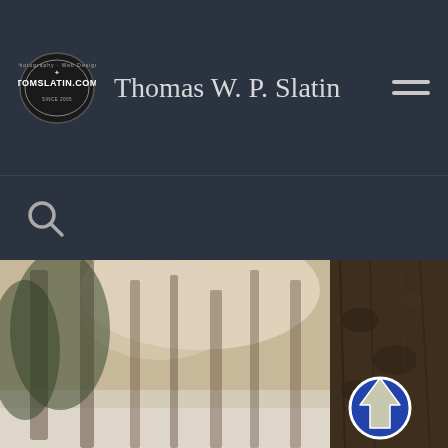Thomas W. P. Slatin
[Figure (screenshot): Website header of TomSlatin.com showing logo badge, site name Thomas W. P. Slatin, and hamburger menu icon on dark background]
[Figure (photo): Sepia-toned photograph of a winter forest scene with snow on the ground. A tree trunk in the foreground on the right side has a blue circular trail marker with an upward-pointing arrow affixed to it.]